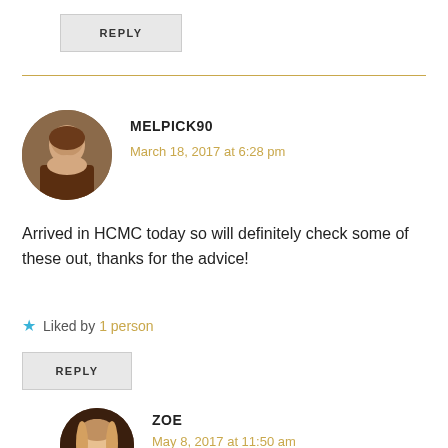REPLY
MELPICK90
March 18, 2017 at 6:28 pm
[Figure (photo): Circular avatar photo of MELPICK90, a woman at a concert or similar venue]
Arrived in HCMC today so will definitely check some of these out, thanks for the advice!
Liked by 1 person
REPLY
[Figure (photo): Circular avatar photo of ZOE, a woman with long blonde hair]
ZOE
May 8, 2017 at 11:50 am